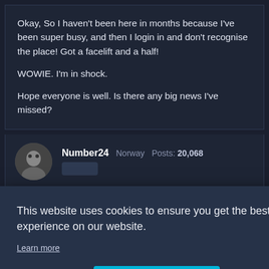Okay, So I haven't been here in months because I've been super busy, and then I login in and don't recognise the place! Got a facelift and a half!

WOWIE. I'm in shock.

Hope everyone is well. Is there any big news I've missed?
Number24  Norway  Posts: 20,068
This website uses cookies to ensure you get the best experience on our website.
Learn more
Decline   Allow cookies
May 2021